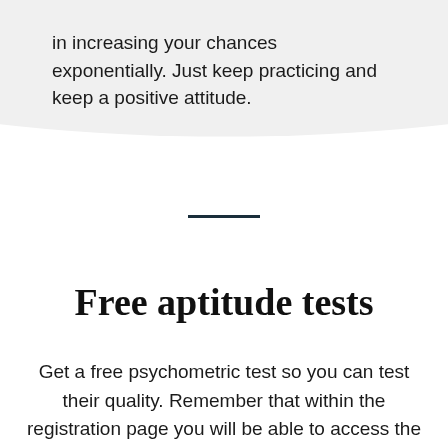in increasing your chances exponentially. Just keep practicing and keep a positive attitude.
Free aptitude tests
Get a free psychometric test so you can test their quality. Remember that within the registration page you will be able to access the specific course you need.